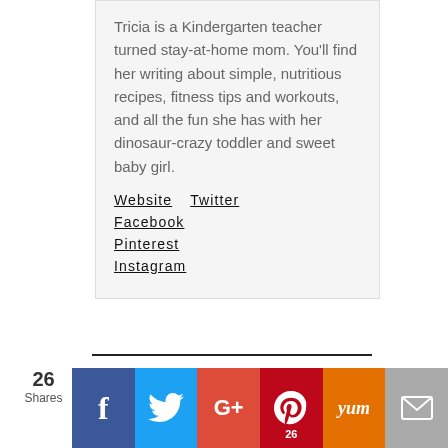Tricia is a Kindergarten teacher turned stay-at-home mom. You'll find her writing about simple, nutritious recipes, fitness tips and workouts, and all the fun she has with her dinosaur-crazy toddler and sweet baby girl.
Website   Twitter   Facebook   Pinterest   Instagram